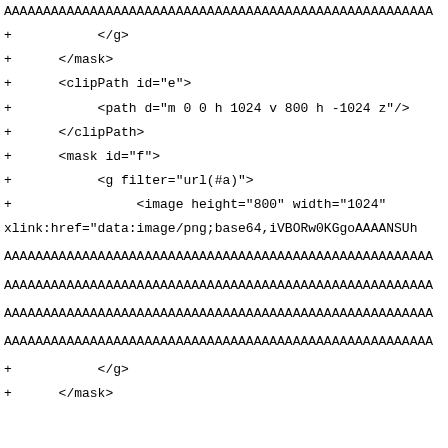AAAAAAAAAAAAAAAAAAAAAAAAAAAAAAAAAAAAAAAAAAAAAAAAAAAAAAA
+           </g>
+      </mask>
+      <clipPath id="e">
+           <path d="m 0 0 h 1024 v 800 h -1024 z"/>
+      </clipPath>
+      <mask id="f">
+           <g filter="url(#a)">
+                <image height="800" width="1024"
xlink:href="data:image/png;base64,iVBORw0KGgoAAAANSUh
AAAAAAAAAAAAAAAAAAAAAAAAAAAAAAAAAAAAAAAAAAAAAAAAAAAAAAA
AAAAAAAAAAAAAAAAAAAAAAAAAAAAAAAAAAAAAAAAAAAAAAAAAAAAAAA
AAAAAAAAAAAAAAAAAAAAAAAAAAAAAAAAAAAAAAAAAAAAAAAAAAAAAAA
AAAAAAAAAAAAAAAAAAAAAAAAAAAAAAAAAAAAAAAAAAAAAAAAAAAAAAA
+           </g>
+      </mask>